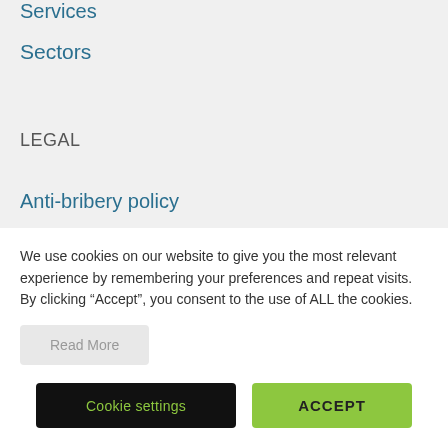Services
Sectors
LEGAL
Anti-bribery policy
Client data protection statement
Complaints policy
Cookies policy
We use cookies on our website to give you the most relevant experience by remembering your preferences and repeat visits. By clicking “Accept”, you consent to the use of ALL the cookies.
Read More
Cookie settings
ACCEPT